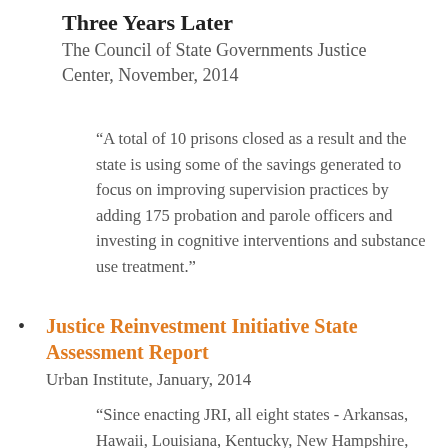Three Years Later
The Council of State Governments Justice Center, November, 2014
“A total of 10 prisons closed as a result and the state is using some of the savings generated to focus on improving supervision practices by adding 175 probation and parole officers and investing in cognitive interventions and substance use treatment.”
Justice Reinvestment Initiative State Assessment Report
Urban Institute, January, 2014
“Since enacting JRI, all eight states - Arkansas, Hawaii, Louisiana, Kentucky, New Hampshire, North Carolina, Ohio, and South Carolina, hav…